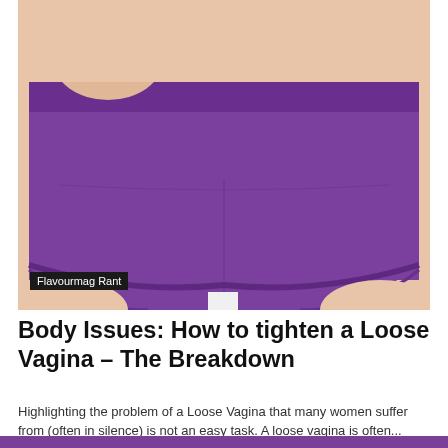[Figure (photo): Close-up photo of a person wearing purple boyshort underwear against a white background, with one hand visible at the top left.]
Flavourmag Rant
Body Issues: How to tighten a Loose Vagina – The Breakdown
Highlighting the problem of a Loose Vagina that many women suffer from (often in silence) is not an easy task. A loose vagina is often...